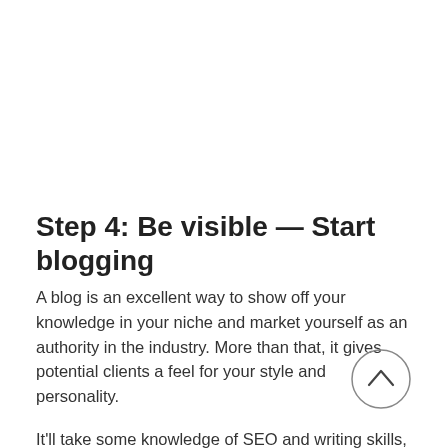Step 4: Be visible — Start blogging
A blog is an excellent way to show off your knowledge in your niche and market yourself as an authority in the industry. More than that, it gives potential clients a feel for your style and personality.
It'll take some knowledge of SEO and writing skills, but when your material is high-quality and worth sharing, you'll boost your online presence and showcase yourself as an expert.